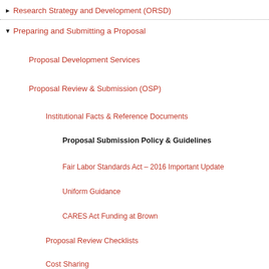Research Strategy and Development (ORSD)
Preparing and Submitting a Proposal
Proposal Development Services
Proposal Review & Submission (OSP)
Institutional Facts & Reference Documents
Proposal Submission Policy & Guidelines
Fair Labor Standards Act – 2016 Important Update
Uniform Guidance
CARES Act Funding at Brown
Proposal Review Checklists
Cost Sharing